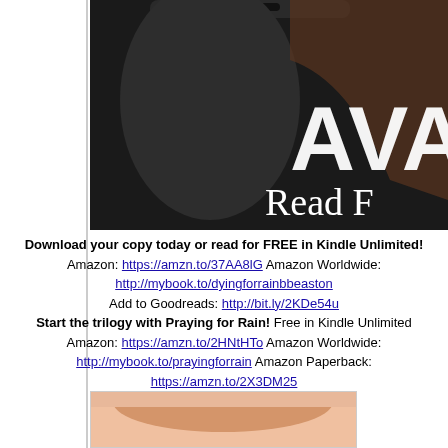[Figure (photo): Book cover image showing a dark background with text 'AVA' and 'Read F' partially visible, with a phone device at top]
Download your copy today or read for FREE in Kindle Unlimited! Amazon: https://amzn.to/37AA8lG Amazon Worldwide: http://mybook.to/dyingforrainbbeaston Add to Goodreads: http://bit.ly/2KDe54u
Start the trilogy with Praying for Rain! Free in Kindle Unlimited Amazon: https://amzn.to/2HNtHTo Amazon Worldwide: http://mybook.to/prayingforrain Amazon Paperback: https://amzn.to/2X3DM25
About BB Easton
[Figure (photo): Partial image of a person at the bottom of the page]